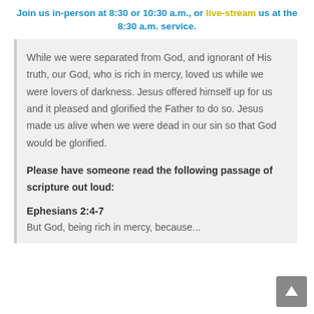Join us in-person at 8:30 or 10:30 a.m., or live-stream us at the 8:30 a.m. service.
While we were separated from God, and ignorant of His truth, our God, who is rich in mercy, loved us while we were lovers of darkness. Jesus offered himself up for us and it pleased and glorified the Father to do so. Jesus made us alive when we were dead in our sin so that God would be glorified.
Please have someone read the following passage of scripture out loud:
Ephesians 2:4-7
But God, being rich in mercy, because...